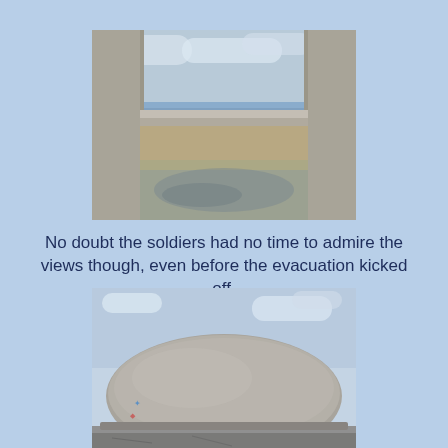[Figure (photo): View from inside a concrete bunker or fortification looking out toward a beach and sea. Concrete walls frame the view, with sandy reflective water pooled on the floor inside.]
No doubt the soldiers had no time to admire the views though, even before the evacuation kicked off.
[Figure (photo): Close-up of a large round concrete bunker dome/turret resting on a concrete base, photographed from ground level against a partly cloudy sky. Some graffiti marks visible on the side.]